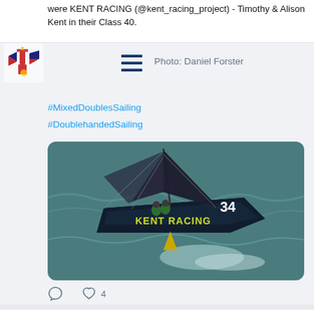were KENT RACING (@kent_racing_project) - Timothy & Alison Kent in their Class 40.
Photo: Daniel Forster
#MixedDoublesSailing
#DoublehandedSailing
[Figure (photo): Aerial photo of a dark navy Class 40 sailboat with black sails labeled 'KENT RACING' and number 34, sailing on choppy green-teal water. Two crew members visible on deck.]
4
Newport Bermud... @Bd... · Aug 10
BLACK WATCH was THE race boat to beat when she was built (specifically for the Newport Bermuda Race by Sparkman &